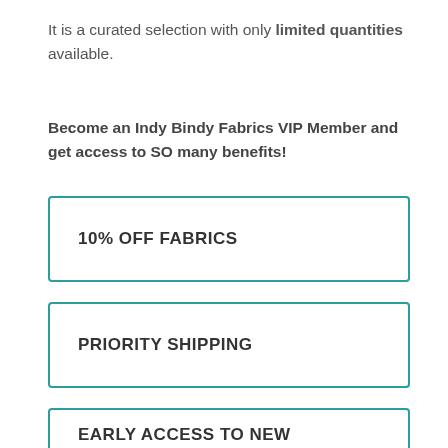It is a curated selection with only limited quantities available.
Become an Indy Bindy Fabrics VIP Member and get access to SO many benefits!
10% OFF FABRICS
PRIORITY SHIPPING
EARLY ACCESS TO NEW RELEASES